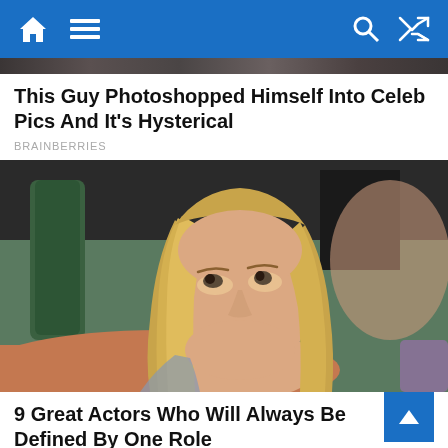Navigation bar with home, menu, search, and shuffle icons
[Figure (screenshot): Partial image strip at top showing a dark scene]
This Guy Photoshopped Himself Into Celeb Pics And It's Hysterical
BRAINBERRIES
[Figure (photo): A woman with long straight blonde hair and red lipstick, looking upward with an unimpressed expression, seated on a couch in what appears to be a TV show set]
9 Great Actors Who Will Always Be Defined By One Role
BRAINBERRIES